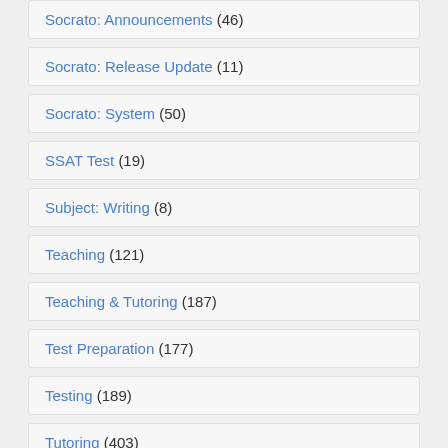Socrato: Announcements (46)
Socrato: Release Update (11)
Socrato: System (50)
SSAT Test (19)
Subject: Writing (8)
Teaching (121)
Teaching & Tutoring (187)
Test Preparation (177)
Testing (189)
Tutoring (403)